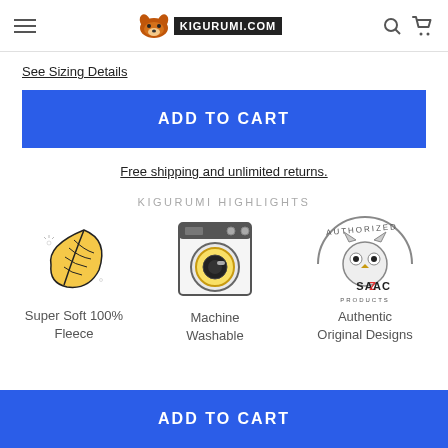KIGURUMI.COM
See Sizing Details
ADD TO CART
Free shipping and unlimited returns.
KIGURUMI HIGHLIGHTS
[Figure (illustration): Feather icon representing Super Soft 100% Fleece]
Super Soft 100% Fleece
[Figure (illustration): Washing machine icon representing Machine Washable]
Machine Washable
[Figure (logo): Authorized SAZAC Products logo representing Authentic Original Designs]
Authentic Original Designs
ADD TO CART